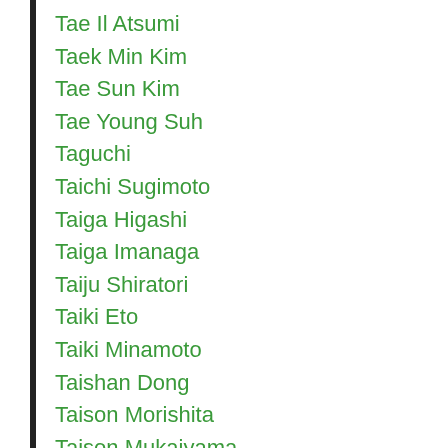Tae Il Atsumi
Taek Min Kim
Tae Sun Kim
Tae Young Suh
Taguchi
Taichi Sugimoto
Taiga Higashi
Taiga Imanaga
Taiju Shiratori
Taiki Eto
Taiki Minamoto
Taishan Dong
Taison Morishita
Taison Mukaiyama
Taiwan
i Kamikawa
[Figure (screenshot): Infolinks ad bar with Street style Dickies advertisement. Ad title: Street style. Description: Dickies has been making workwear and apparel since 1922. ... URL: www.dickies.com]